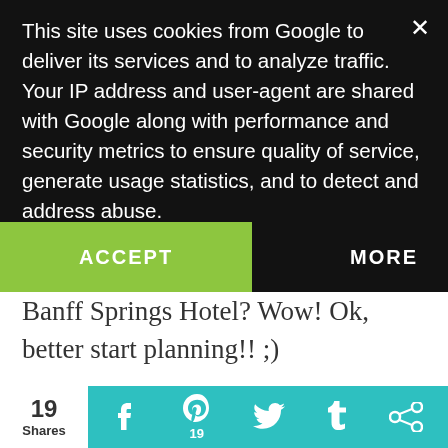This site uses cookies from Google to deliver its services and to analyze traffic. Your IP address and user-agent are shared with Google along with performance and security metrics to ensure quality of service, generate usage statistics, and to detect and address abuse.
ACCEPT
MORE
Banff Springs Hotel? Wow! Ok, better start planning!! ;)
MAPLELEOPARD
August 22, 2016 at 2:38 PM
Hi Julie. thanks for stopping by..thats what I heard..but then my
19 Shares